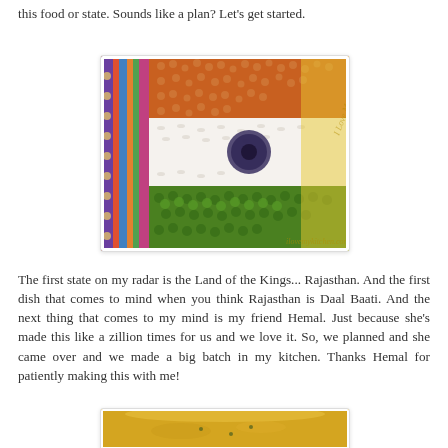this food or state. Sounds like a plan? Let's get started.
[Figure (photo): Overhead view of Indian flag made from food ingredients: orange lentils on top, white rice in the middle with dark seeds forming Ashoka Chakra, and green mung beans at bottom, on a yellow surface with decorative border fabric. Watermark visible.]
The first state on my radar is the Land of the Kings... Rajasthan. And the first dish that comes to mind when you think Rajasthan is Daal Baati. And the next thing that comes to my mind is my friend Hemal. Just because she's made this like a zillion times for us and we love it. So, we planned and she came over and we made a big batch in my kitchen. Thanks Hemal for patiently making this with me!
[Figure (photo): Close-up of a yellow dal (lentil soup) in a white bowl or dish, partially visible at the bottom of the page.]